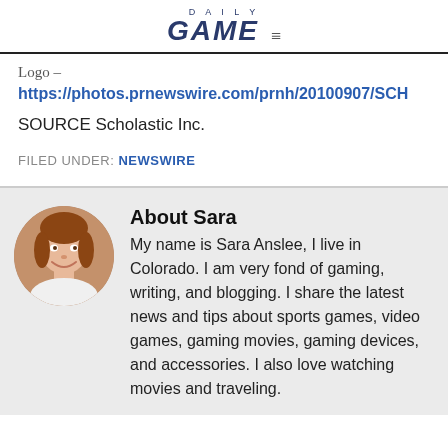DAILY GAME
Logo – https://photos.prnewswire.com/prnh/20100907/SCH
SOURCE Scholastic Inc.
FILED UNDER: NEWSWIRE
About Sara
My name is Sara Anslee, I live in Colorado. I am very fond of gaming, writing, and blogging. I share the latest news and tips about sports games, video games, gaming movies, gaming devices, and accessories. I also love watching movies and traveling.
[Figure (photo): Circular headshot photo of Sara Anslee, a woman with brown hair, smiling.]